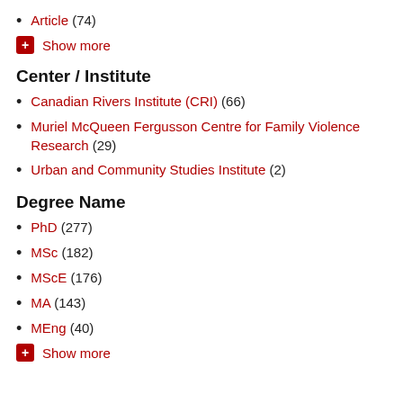Article (74)
Show more
Center / Institute
Canadian Rivers Institute (CRI) (66)
Muriel McQueen Fergusson Centre for Family Violence Research (29)
Urban and Community Studies Institute (2)
Degree Name
PhD (277)
MSc (182)
MScE (176)
MA (143)
MEng (40)
Show more